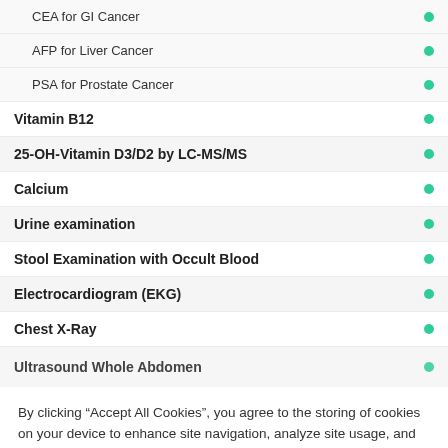CEA for GI Cancer
AFP for Liver Cancer
PSA for Prostate Cancer
Vitamin B12
25-OH-Vitamin D3/D2 by LC-MS/MS
Calcium
Urine examination
Stool Examination with Occult Blood
Electrocardiogram (EKG)
Chest X-Ray
Ultrasound Whole Abdomen
By clicking “Accept All Cookies”, you agree to the storing of cookies on your device to enhance site navigation, analyze site usage, and assist in our marketing efforts.
Cookies Settings
Accept All Cookies